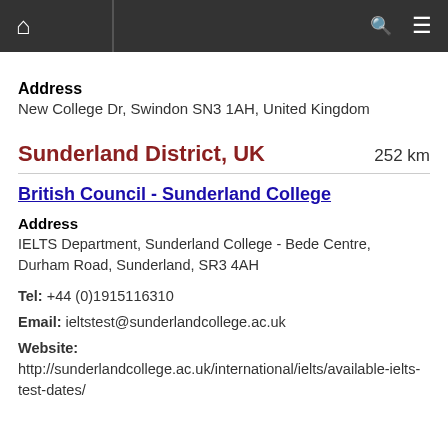Home | Search | Menu
Address
New College Dr, Swindon SN3 1AH, United Kingdom
Sunderland District, UK  252 km
British Council - Sunderland College
Address
IELTS Department, Sunderland College - Bede Centre, Durham Road, Sunderland, SR3 4AH
Tel: +44 (0)1915116310
Email: ieltstest@sunderlandcollege.ac.uk
Website:
http://sunderlandcollege.ac.uk/international/ielts/available-ielts-test-dates/